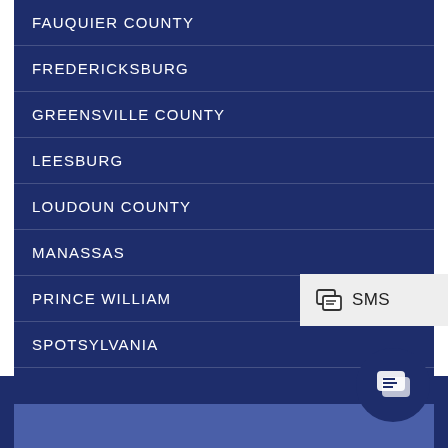FAUQUIER COUNTY
FREDERICKSBURG
GREENSVILLE COUNTY
LEESBURG
LOUDOUN COUNTY
MANASSAS
PRINCE WILLIAM
SPOTSYLVANIA
STAFFORD
[Figure (other): SMS chat popup button with phone/message icon and text 'SMS']
[Figure (other): Circular dark navy chat bubble button with message icon at bottom right]